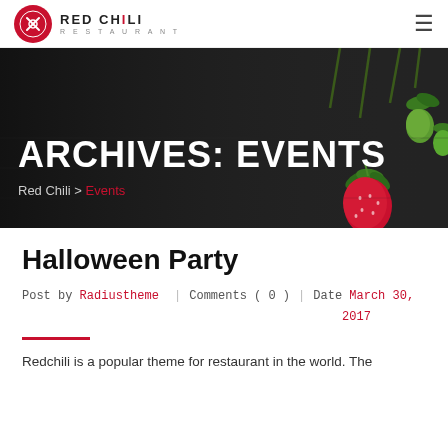RED CHILI RESTAURANT
ARCHIVES: EVENTS
Red Chili > Events
[Figure (screenshot): Dark hero banner with strawberries in upper right corner on a dark slate background]
Halloween Party
Post by Radiustheme | Comments (0) | Date March 30, 2017
Redchili is a popular theme for restaurant in the world. The